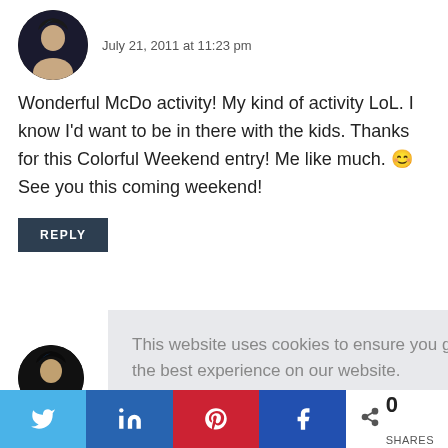July 21, 2011 at 11:23 pm
Wonderful McDo activity! My kind of activity LoL. I know I'd want to be in there with the kids. Thanks for this Colorful Weekend entry! Me like much. 😊 See you this coming weekend!
REPLY
This website uses cookies to ensure you get the best experience on our website. Learn more
Got it!
Ya
0 SHARES